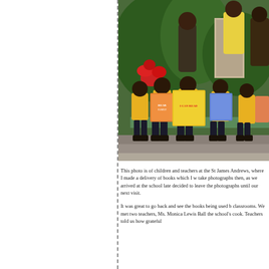[Figure (photo): Group photo of children and teachers at St James school. Children in yellow uniforms and dark shorts sit holding colorful books, in front of lush tropical plants including red poinsettias. Adults stand behind them.]
This photo is of children and teachers at the St James Andrews, where I made a delivery of books which I w take photographs then, as we arrived at the school late decided to leave the photographs until our next visit.
It was great to go back and see the books being used b classrooms. We met two teachers, Ms. Monica Lewis Ball the school's cook. Teachers told us how grateful